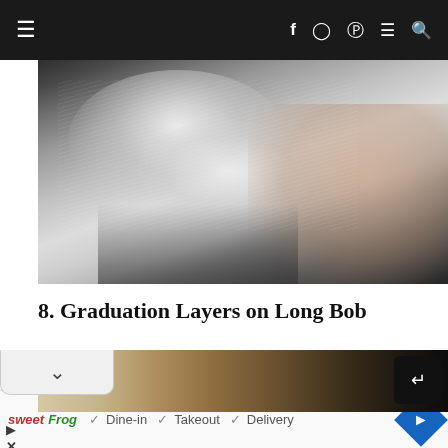Navigation bar with hamburger menu, social icons (Facebook, Instagram, Pinterest), menu and search icons
[Figure (photo): Side profile of a woman with short silver/grey layered bob haircut against a textured dark grey wall]
8. Graduation Layers on Long Bob
[Figure (photo): Partial view of another hairstyle photo with a dropdown chevron overlay and a share button]
sweetFrog  ✓ Dine-in  ✓ Takeout  ✓ Delivery